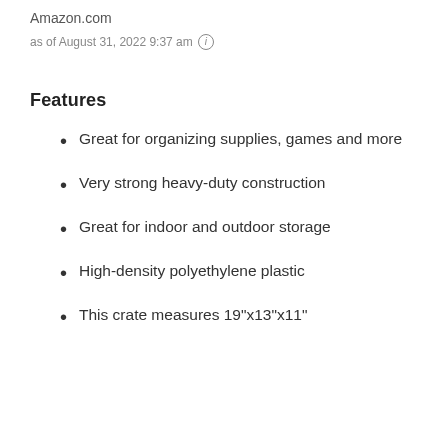Amazon.com
as of August 31, 2022 9:37 am ℹ
Features
Great for organizing supplies, games and more
Very strong heavy-duty construction
Great for indoor and outdoor storage
High-density polyethylene plastic
This crate measures 19"x13"x11"